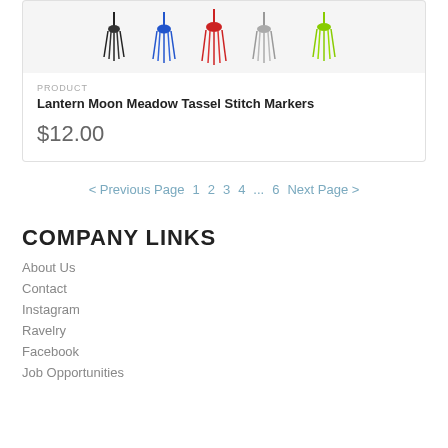[Figure (photo): Product image showing colorful tassel stitch markers in black, blue, red, gray, and green/lime colors on a light gray background]
PRODUCT
Lantern Moon Meadow Tassel Stitch Markers
$12.00
< Previous Page   1  2  3  4 ... 6   Next Page >
COMPANY LINKS
About Us
Contact
Instagram
Ravelry
Facebook
Job Opportunities